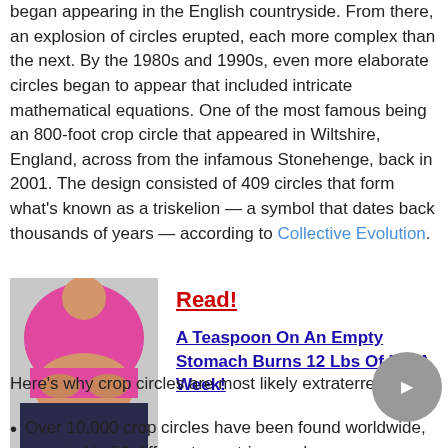began appearing in the English countryside. From there, an explosion of circles erupted, each more complex than the next. By the 1980s and 1990s, even more elaborate circles began to appear that included intricate mathematical equations. One of the most famous being an 800-foot crop circle that appeared in Wiltshire, England, across from the infamous Stonehenge, back in 2001. The design consisted of 409 circles that form what's known as a triskelion — a symbol that dates back thousands of years — according to Collective Evolution.
[Figure (photo): Person in pink shirt pinching belly fat, advertisement image]
Read! A Teaspoon On An Empty Stomach Burns 12 Lbs Of Fat A Week!
Here's why crop circles are most likely extraterrestrial:
Over 10,000 crop circles have been found worldwide, reported in 50 different countries, and on...